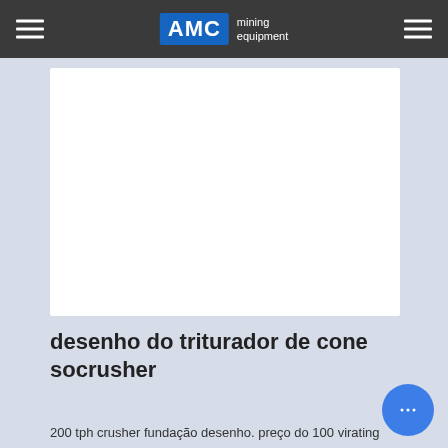AMC mining equipment
[Figure (illustration): White card/image placeholder area on a light blue-grey background]
desenho do triturador de cone socrusher
200 tph crusher fundação desenho. preço do 100 virating tela de carvão Há mais de 20 anos a Stone...